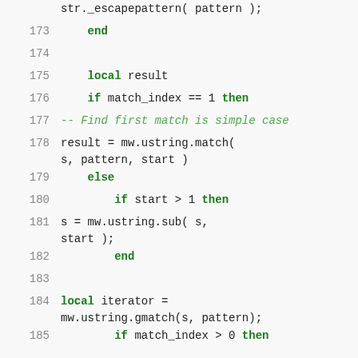str._escapepattern( pattern );
173     end
174
175     local result
176     if match_index == 1 then
177         -- Find first match is simple case
178         result = mw.ustring.match( s, pattern, start )
179     else
180         if start > 1 then
181             s = mw.ustring.sub( s, start );
182         end
183
184         local iterator = mw.ustring.gmatch(s, pattern);
185         if match_index > 0 then